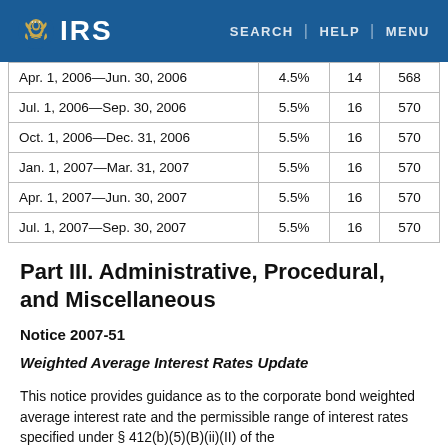IRS | SEARCH | HELP | MENU
|  |  |  |  |
| --- | --- | --- | --- |
| Apr. 1, 2006—Jun. 30, 2006 | 4.5% | 14 | 568 |
| Jul. 1, 2006—Sep. 30, 2006 | 5.5% | 16 | 570 |
| Oct. 1, 2006—Dec. 31, 2006 | 5.5% | 16 | 570 |
| Jan. 1, 2007—Mar. 31, 2007 | 5.5% | 16 | 570 |
| Apr. 1, 2007—Jun. 30, 2007 | 5.5% | 16 | 570 |
| Jul. 1, 2007—Sep. 30, 2007 | 5.5% | 16 | 570 |
Part III. Administrative, Procedural, and Miscellaneous
Notice 2007-51
Weighted Average Interest Rates Update
This notice provides guidance as to the corporate bond weighted average interest rate and the permissible range of interest rates specified under § 412(b)(5)(B)(ii)(II) of the